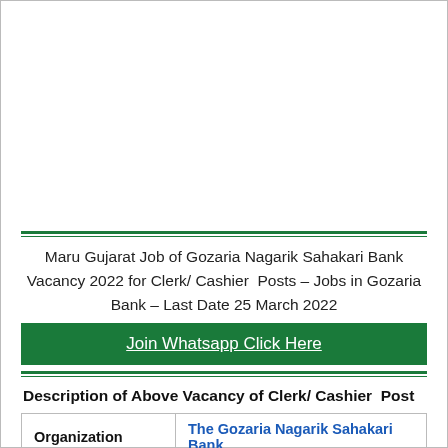Maru Gujarat Job of Gozaria Nagarik Sahakari Bank Vacancy 2022 for Clerk/ Cashier Posts – Jobs in Gozaria Bank – Last Date 25 March 2022
Join Whatsapp Click Here
Description of Above Vacancy of Clerk/ Cashier Post
| Organization | The Gozaria Nagarik Sahakari Bank |
| --- | --- |